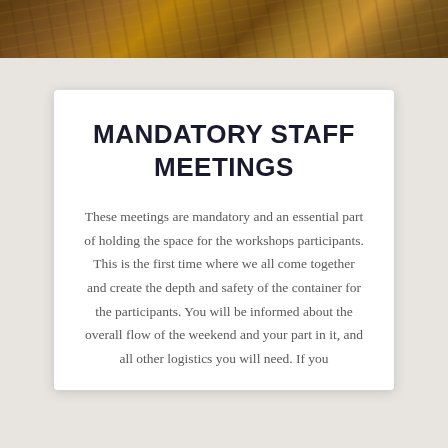[Figure (photo): Golden brown dry grass or vegetation landscape photo strip across the top of the page]
MANDATORY STAFF MEETINGS
These meetings are mandatory and an essential part of holding the space for the workshops participants. This is the first time where we all come together and create the depth and safety of the container for the participants. You will be informed about the overall flow of the weekend and your part in it, and all other logistics you will need. If you